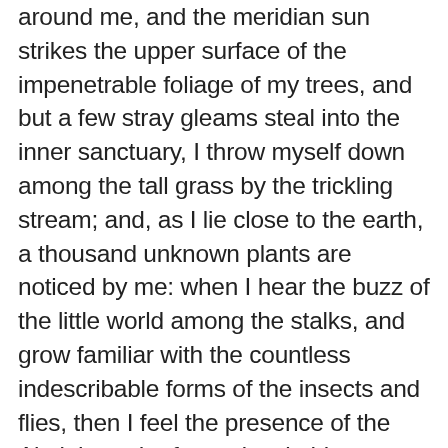around me, and the meridian sun strikes the upper surface of the impenetrable foliage of my trees, and but a few stray gleams steal into the inner sanctuary, I throw myself down among the tall grass by the trickling stream; and, as I lie close to the earth, a thousand unknown plants are noticed by me: when I hear the buzz of the little world among the stalks, and grow familiar with the countless indescribable forms of the insects and flies, then I feel the presence of the Almighty, who formed us in his own image, and the breath of that universal love which bears and sustains us, as it floats around us in an eternity of bliss; and then, my friend, when darkness overspreads my eyes, and heaven and earth seem to dwell in my soul and absorb its power, like the form of a beloved mistress, then I often think with longing, Oh, would I could describe these conceptions, could impress upon paper all that is living so full and warm within